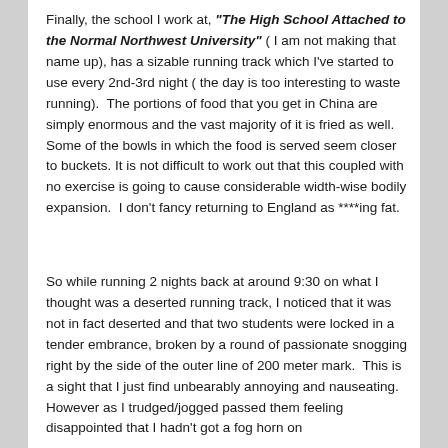Finally, the school I work at, "The High School Attached to the Normal Northwest University" ( I am not making that name up), has a sizable running track which I've started to use every 2nd-3rd night ( the day is too interesting to waste running).  The portions of food that you get in China are simply enormous and the vast majority of it is fried as well.  Some of the bowls in which the food is served seem closer to buckets. It is not difficult to work out that this coupled with no exercise is going to cause considerable width-wise bodily expansion.  I don't fancy returning to England as ****ing fat.
So while running 2 nights back at around 9:30 on what I thought was a deserted running track, I noticed that it was not in fact deserted and that two students were locked in a tender embrance, broken by a round of passionate snogging right by the side of the outer line of 200 meter mark.  This is a sight that I just find unbearably annoying and nauseating. However as I trudged/jogged passed them feeling disappointed that I hadn't got a fog horn on